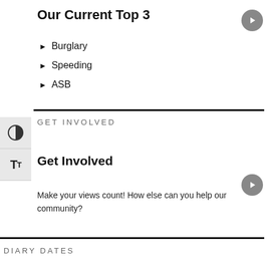Our Current Top 3
Burglary
Speeding
ASB
GET INVOLVED
Get Involved
Make your views count! How else can you help our community?
DIARY DATES